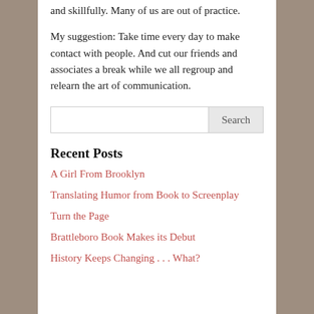and skillfully. Many of us are out of practice.
My suggestion: Take time every day to make contact with people. And cut our friends and associates a break while we all regroup and relearn the art of communication.
Recent Posts
A Girl From Brooklyn
Translating Humor from Book to Screenplay
Turn the Page
Brattleboro Book Makes its Debut
History Keeps Changing . . . What?